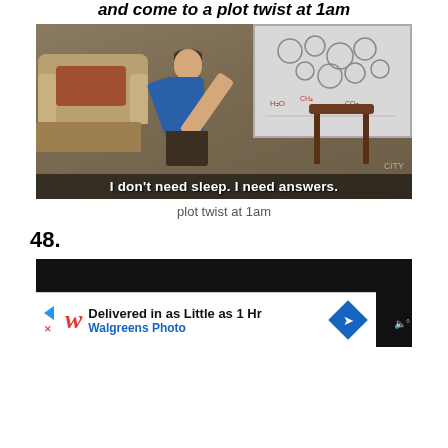and come to a plot twist at 1am
[Figure (photo): Still from The Big Bang Theory showing Sheldon Cooper crouching in the apartment living room, with a sofa, coffee table, and whiteboard in background. Subtitle reads: I don't need sleep. I need answers.]
plot twist at 1am
48.
[Figure (screenshot): Dark/black video frame with a Walgreens advertisement banner overlay at the bottom: 'Delivered in as Little as 1 Hr — Walgreens Photo']